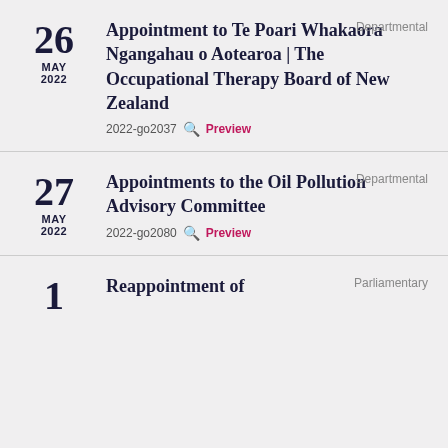Appointment to Te Poari Whakaora Ngangahau o Aotearoa | The Occupational Therapy Board of New Zealand
26 MAY 2022
2022-go2037  Preview
Departmental
Appointments to the Oil Pollution Advisory Committee
27 MAY 2022
2022-go2080  Preview
Departmental
Reappointment of
1
Parliamentary